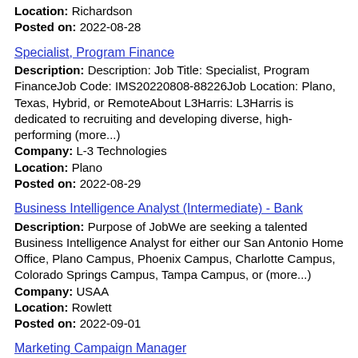Location: Richardson
Posted on: 2022-08-28
Specialist, Program Finance
Description: Description: Job Title: Specialist, Program FinanceJob Code: IMS20220808-88226Job Location: Plano, Texas, Hybrid, or RemoteAbout L3Harris: L3Harris is dedicated to recruiting and developing diverse, high-performing (more...)
Company: L-3 Technologies
Location: Plano
Posted on: 2022-08-29
Business Intelligence Analyst (Intermediate) - Bank
Description: Purpose of JobWe are seeking a talented Business Intelligence Analyst for either our San Antonio Home Office, Plano Campus, Phoenix Campus, Charlotte Campus, Colorado Springs Campus, Tampa Campus, or (more...)
Company: USAA
Location: Rowlett
Posted on: 2022-09-01
Marketing Campaign Manager
Description: We have an immediate requirement with our direct telecom client. If you are interested, please send me your updated resume.. br Role: Marketing Campaign Manager Direct Response Marketing DRM Location: (more...)
Company: InfoVision Inc.
Location: Irving